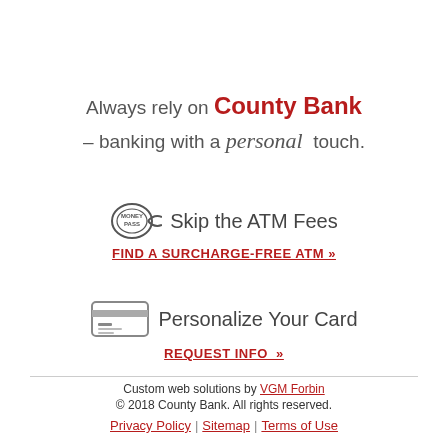Always rely on County Bank – banking with a personal touch.
[Figure (logo): MoneyPass logo with circular emblem and 'MONEY PASS' text]
Skip the ATM Fees
FIND A SURCHARGE-FREE ATM »
[Figure (illustration): Credit card icon with horizontal lines]
Personalize Your Card
REQUEST INFO »
Custom web solutions by VGM Forbin
© 2018 County Bank. All rights reserved.
Privacy Policy | Sitemap | Terms of Use